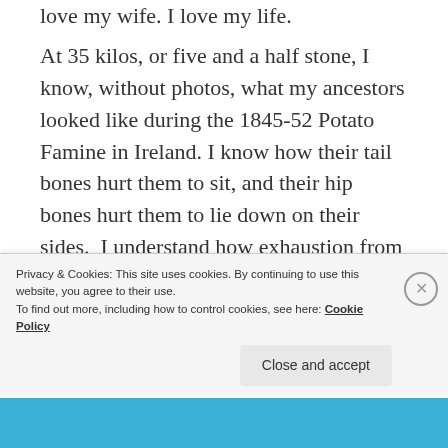love my wife. I love my life.
At 35 kilos, or five and a half stone, I know, without photos, what my ancestors looked like during the 1845-52 Potato Famine in Ireland. I know how their tail bones hurt them to sit, and their hip bones hurt them to lie down on their sides.  I understand how exhaustion from starvation would lead
Privacy & Cookies: This site uses cookies. By continuing to use this website, you agree to their use.
To find out more, including how to control cookies, see here: Cookie Policy
Close and accept